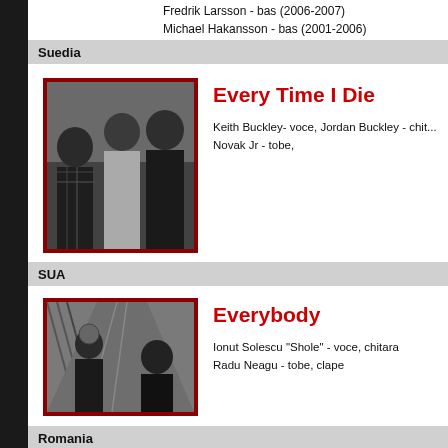Fredrik Larsson - bas (2006-2007)
Michael Hakansson - bas (2001-2006)
Suedia
[Figure (photo): Black and white band photo of Every Time I Die members]
Every Time I Die
Keith Buckley- voce, Jordan Buckley - chit...
Novak Jr - tobe,
SUA
[Figure (photo): Photo for Everybody band - two people on a bridge walkway]
Everybody
Ionut Solescu "Shole" - voce, chitara
Radu Neagu - tobe, clape
Romania
[Figure (photo): Dark band photo of Evil Masquerade members]
Evil Masquerade
Henrik Flyman - chitara, Apollo Papathana...
(MIND'S EYE) - tobe, Johan Niemann (TH...